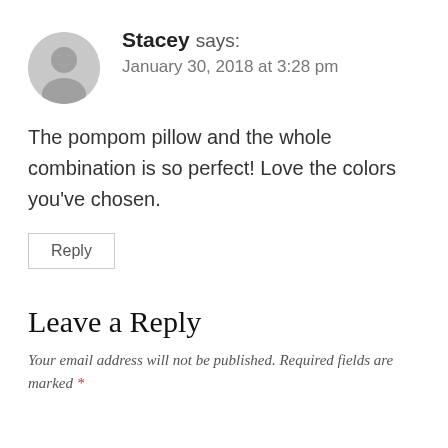Stacey says: January 30, 2018 at 3:28 pm
The pompom pillow and the whole combination is so perfect! Love the colors you've chosen.
Reply
Leave a Reply
Your email address will not be published. Required fields are marked *